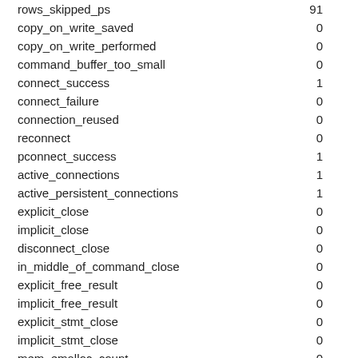| key | value |
| --- | --- |
| rows_skipped_ps | 91 |
| copy_on_write_saved | 0 |
| copy_on_write_performed | 0 |
| command_buffer_too_small | 0 |
| connect_success | 1 |
| connect_failure | 0 |
| connection_reused | 0 |
| reconnect | 0 |
| pconnect_success | 1 |
| active_connections | 1 |
| active_persistent_connections | 1 |
| explicit_close | 0 |
| implicit_close | 0 |
| disconnect_close | 0 |
| in_middle_of_command_close | 0 |
| explicit_free_result | 0 |
| implicit_free_result | 0 |
| explicit_stmt_close | 0 |
| implicit_stmt_close | 0 |
| mem_emalloc_count | 0 |
| mem_emalloc_amount | 0 |